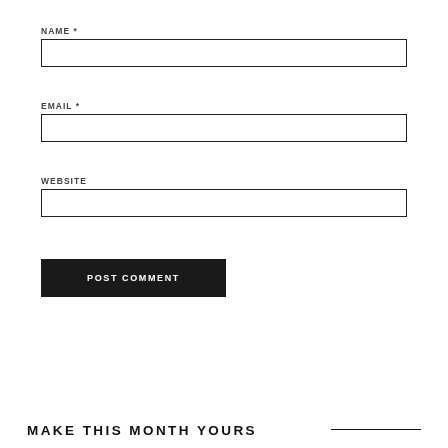NAME *
EMAIL *
WEBSITE
POST COMMENT
MAKE THIS MONTH YOURS